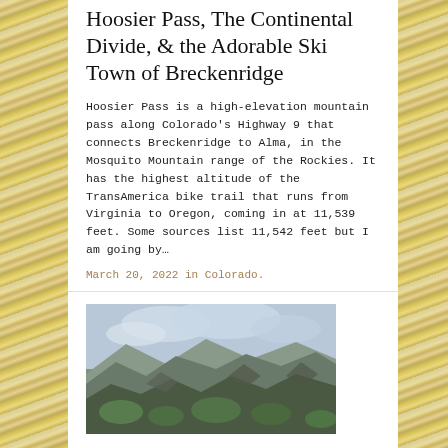Hoosier Pass, The Continental Divide, & the Adorable Ski Town of Breckenridge
Hoosier Pass is a high-elevation mountain pass along Colorado's Highway 9 that connects Breckenridge to Alma, in the Mosquito Mountain range of the Rockies. It has the highest altitude of the TransAmerica bike trail that runs from Virginia to Oregon, coming in at 11,539 feet. Some sources list 11,542 feet but I am going by...
March 20, 2022 in Colorado.
[Figure (photo): Landscape photo of rocky mountain terrain with green vegetation in the foreground and cloudy sky above]